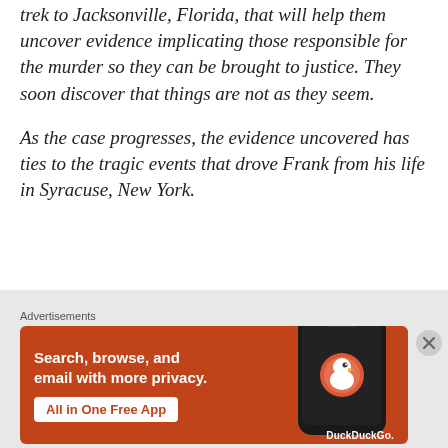trek to Jacksonville, Florida, that will help them uncover evidence implicating those responsible for the murder so they can be brought to justice. They soon discover that things are not as they seem.

As the case progresses, the evidence uncovered has ties to the tragic events that drove Frank from his life in Syracuse, New York.
Advertisements
[Figure (infographic): DuckDuckGo advertisement banner with orange background. Left side has white bold text: 'Search, browse, and email with more privacy.' with a white button 'All in One Free App'. Right side shows a dark smartphone with DuckDuckGo logo and branding.]